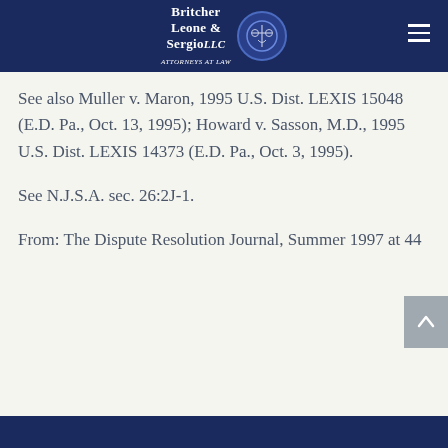Britcher Leone & Sergio LLC — Attorneys at Law
See also Muller v. Maron, 1995 U.S. Dist. LEXIS 15048 (E.D. Pa., Oct. 13, 1995); Howard v. Sasson, M.D., 1995 U.S. Dist. LEXIS 14373 (E.D. Pa., Oct. 3, 1995).
See N.J.S.A. sec. 26:2J-1.
From: The Dispute Resolution Journal, Summer 1997 at 44